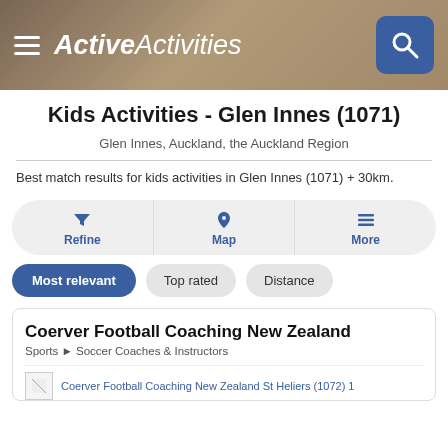Active Activities
Kids Activities - Glen Innes (1071)
Glen Innes, Auckland, the Auckland Region
Best match results for kids activities in Glen Innes (1071) + 30km.
Refine | Map | More
Most relevant  Top rated  Distance
Coerver Football Coaching New Zealand
Sports > Soccer Coaches & Instructors
Coerver Football Coaching New Zealand St Heliers (1072) 1